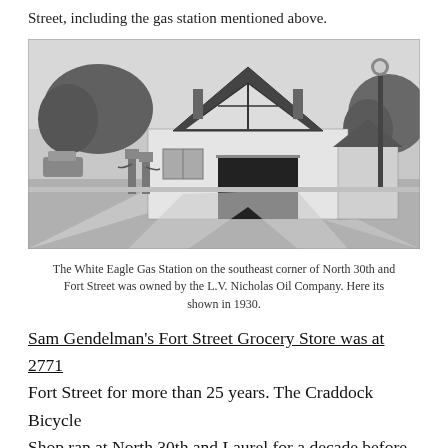Street, including the gas station mentioned above.
[Figure (photo): Black and white photograph of the White Eagle Gas Station, a Tudor-style building on the southeast corner of North 30th and Fort Street, with gas pumps in front and a street lamp to the right. Shown in 1930.]
The White Eagle Gas Station on the southeast corner of North 30th and Fort Street was owned by the L.V. Nicholas Oil Company. Here its shown in 1930.
Sam Gendelman's Fort Street Grocery Store was at 2771 Fort Street for more than 25 years. The Craddock Bicycle Shop ran at North 30th and Laurel for a decade before becoming a veterinarian office. There were offices